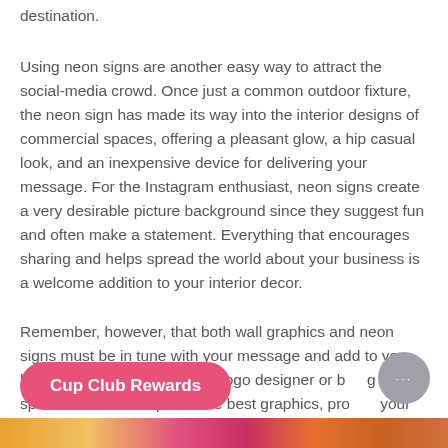destination.
Using neon signs are another easy way to attract the social-media crowd. Once just a common outdoor fixture, the neon sign has made its way into the interior designs of commercial spaces, offering a pleasant glow, a hip casual look, and an inexpensive device for delivering your message. For the Instagram enthusiast, neon signs create a very desirable picture background since they suggest fun and often make a statement. Everything that encourages sharing and helps spread the world about your business is a welcome addition to your interior decor.
Remember, however, that both wall graphics and neon signs must be in tune with your message and add to your brand image. Work with your logo designer or b... g specialist to come up with the best graphics, pro... your unique brand.
[Figure (screenshot): Pink rounded button labeled 'Cup Club Rewards', and a grey circular chat bubble with ellipsis icon, overlaid on text]
[Figure (photo): Colorful image strip at the bottom of the page showing warm orange, pink, and red tones]